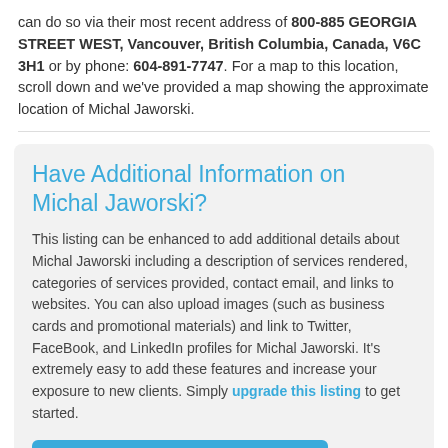can do so via their most recent address of 800-885 GEORGIA STREET WEST, Vancouver, British Columbia, Canada, V6C 3H1 or by phone: 604-891-7747. For a map to this location, scroll down and we've provided a map showing the approximate location of Michal Jaworski.
Have Additional Information on Michal Jaworski?
This listing can be enhanced to add additional details about Michal Jaworski including a description of services rendered, categories of services provided, contact email, and links to websites. You can also upload images (such as business cards and promotional materials) and link to Twitter, FaceBook, and LinkedIn profiles for Michal Jaworski. It's extremely easy to add these features and increase your exposure to new clients. Simply upgrade this listing to get started.
+ Add Additional Details - $19.99